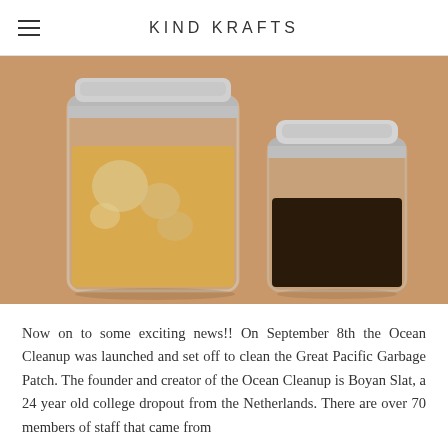KIND KRAFTS
[Figure (photo): Two mason jars on a tan/kraft paper background. Left jar is large and contains iced coffee with cream (light golden color). Right jar is smaller and contains dark black cold brew coffee. Both jars have metal lids.]
Now on to some exciting news!! On September 8th the Ocean Cleanup was launched and set off to clean the Great Pacific Garbage Patch. The founder and creator of the Ocean Cleanup is Boyan Slat, a 24 year old college dropout from the Netherlands. There are over 70 members of staff that came from